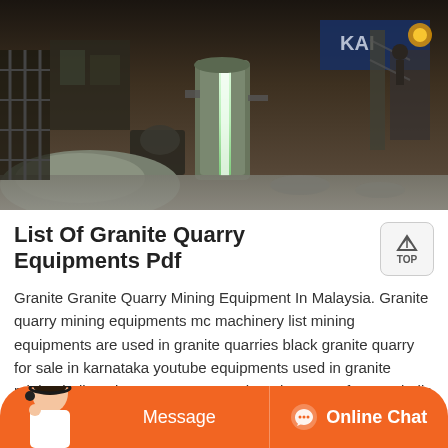[Figure (photo): A granite quarry site at dusk/night showing industrial equipment, a large vertical cylindrical machine with a glowing white light strip, piles of crushed granite/gravel, warehouse-like structures, and construction machinery in the background. A sign reading 'KAI' is visible.]
List Of Granite Quarry Equipments Pdf
Granite Granite Quarry Mining Equipment In Malaysia. Granite quarry mining equipments mc machinery list mining equipments are used in granite quarries black granite quarry for sale in karnataka youtube equipments used in granite mining india17 jun 2015 stone crusher plant manufacturer india used cement ball mill sale calcium carbide manufacture ...